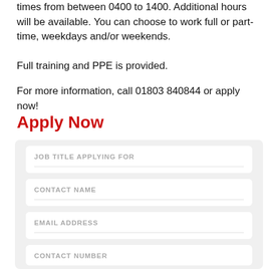times from between 0400 to 1400. Additional hours will be available. You can choose to work full or part-time, weekdays and/or weekends.
Full training and PPE is provided.
For more information, call 01803 840844 or apply now!
Apply Now
| JOB TITLE APPLYING FOR | CONTACT NAME | EMAIL ADDRESS | CONTACT NUMBER |
| --- | --- | --- | --- |